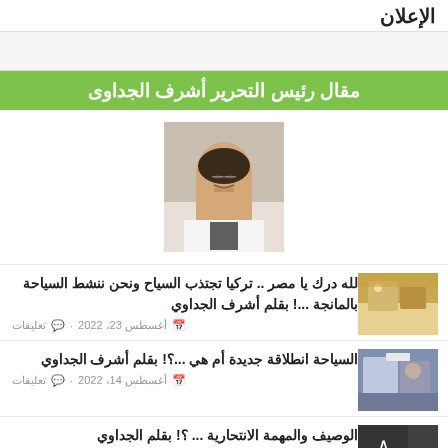الإعلان
[Figure (other): Ad banner placeholder area]
مقال رئيس التحرير أشرف الجداوى
[Figure (photo): Portrait photo of editor-in-chief Ashraf Al-Jadawi, a man wearing glasses, white shirt, and dark tie]
لله درك يا مصر .. تركيا تجتذب السياح ونحن ننشط السياحة بالمانجة ...! بقلم أشرف الجداوي
أغسطس 23، 2022 · تعليقات
السياحة انطلاقة جديدة أم هي ...؟! بقلم أشرف الجداوي
أغسطس 14، 2022 · تعليقات
الوصيف والمهمة الانتحارية ... ؟! بقلم الجداوي